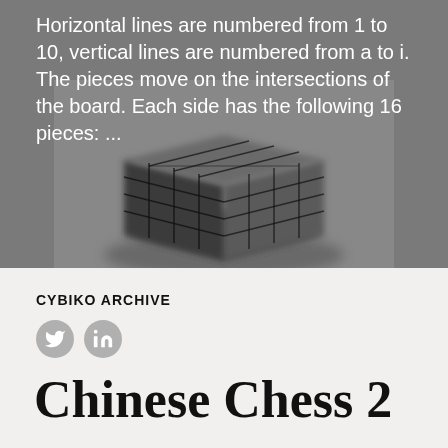Horizontal lines are numbered from 1 to 10, vertical lines are numbered from a to i. The pieces move on the intersections of the board. Each side has the following 16 pieces: ...
[Figure (photo): A blurred 3D rendering of a lattice or mesh cube object on a gray background]
CYBIKO ARCHIVE
[Figure (other): Twitter and LinkedIn social media icons as gray circles]
Chinese Chess 2